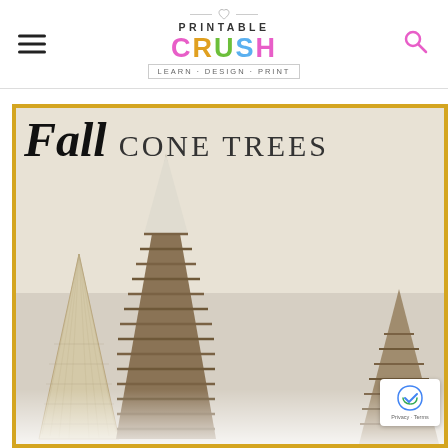Printable Crush — Learn · Design · Print
[Figure (photo): Fall Cone Trees craft blog post hero image showing three decorative cone trees wrapped in twine and paper with a gold border frame and the text 'Fall Cone Trees' overlaid at the top]